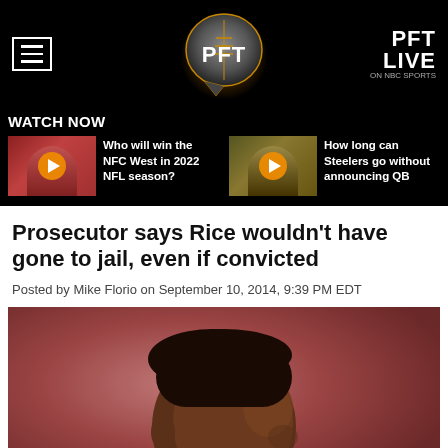PFT LIVE on NBC Sports
WATCH NOW
[Figure (screenshot): Video thumbnail: Who will win the NFC West in 2022 NFL season? Coach in red sideline gear]
Who will win the NFC West in 2022 NFL season?
[Figure (screenshot): Video thumbnail: How long can Steelers go without announcing QB? Player in Steelers uniform]
How long can Steelers go without announcing QB
Prosecutor says Rice wouldn’t have gone to jail, even if convicted
Posted by Mike Florio on September 10, 2014, 9:39 PM EDT
[Figure (photo): Close-up profile photo of Ray Rice from the side against a reddish-pink blurred background]